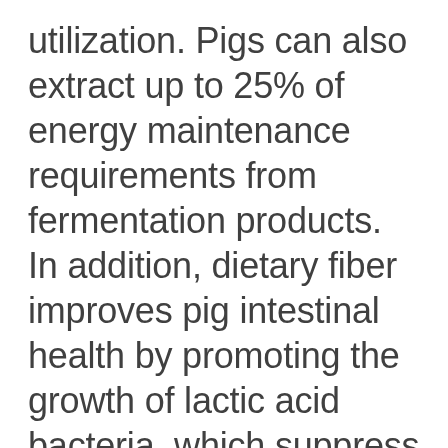utilization. Pigs can also extract up to 25% of energy maintenance requirements from fermentation products. In addition, dietary fiber improves pig intestinal health by promoting the growth of lactic acid bacteria, which suppress proliferation of pathogenic bacteria in the intestines. This paper reviews maize cob composition and the effect on digestibility of nutrients